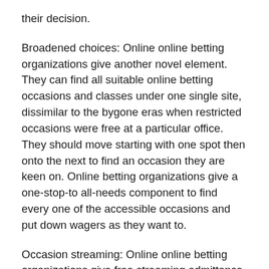their decision.
Broadened choices: Online online betting organizations give another novel element. They can find all suitable online betting occasions and classes under one single site, dissimilar to the bygone eras when restricted occasions were free at a particular office. They should move starting with one spot then onto the next to find an occasion they are keen on. Online betting organizations give a one-stop-to all-needs component to find every one of the accessible occasions and put down wagers as they want to.
Occasion streaming: Online online betting organizations give free streaming admittance to all occasions for those people who have enrolled as individuals from the organization. Along these lines, an individual would have the option to stream every one of the occasions they have put down their